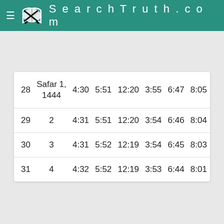SearchTruth.com
|  |  |  |  |  |  |  |  |
| --- | --- | --- | --- | --- | --- | --- | --- |
| 28 | Safar 1, 1444 | 4:30 | 5:51 | 12:20 | 3:55 | 6:47 | 8:05 |
| 29 | 2 | 4:31 | 5:51 | 12:20 | 3:54 | 6:46 | 8:04 |
| 30 | 3 | 4:31 | 5:52 | 12:19 | 3:54 | 6:45 | 8:03 |
| 31 | 4 | 4:32 | 5:52 | 12:19 | 3:53 | 6:44 | 8:01 |
Prayer Times Parameters
|  |  |
| --- | --- |
| Location: | Koha-i- Cotak, Helmand, Afghanistan |
| Makkah Distance: | Distance between Koha-i- Cotak and Makkah is 2,524 kilometers |
| Madina | Distance between Koha-i- Cotak and Madina |